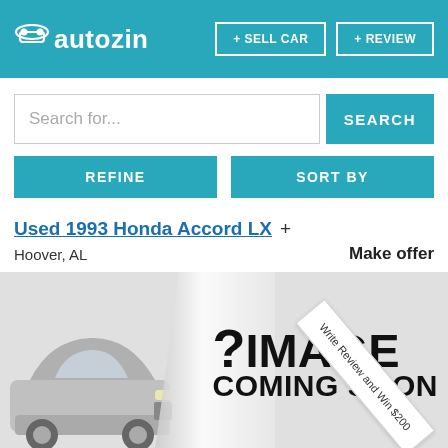[Figure (logo): Autozin logo in white on teal header with + SELL CAR and + REVIEW buttons]
Search for...
SEARCH
REFINE
SORT BY
Used 1993 Honda Accord LX
Hoover, AL
Make offer
[Figure (other): Image coming soon placeholder with car silhouette on left and '? IMAGE COMING SOON' text on right, with a rotated banner saying 'Write Review and Win $200']